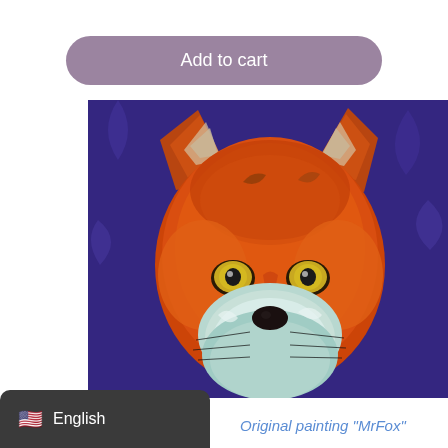Add to cart
[Figure (illustration): Original painting of a fox face with orange-red fur, yellow eyes, white and teal muzzle fur, on a deep purple/violet background. Painted in an expressive, textured style.]
English
Original painting "MrFox"